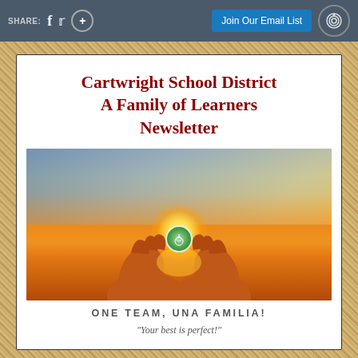SHARE: f tw (+)   Join Our Email List
Cartwright School District
A Family of Learners
Newsletter
[Figure (photo): Hands raised toward sky holding a glowing sun with Cartwright School District logo, dramatic orange sunset background]
ONE TEAM, UNA FAMILIA!
"Your best is perfect!"